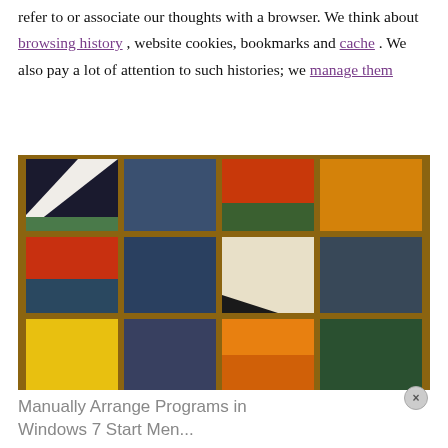refer to or associate our thoughts with a browser. We think about browsing history , website cookies, bookmarks and cache . We also pay a lot of attention to such histories; we manage them
[Figure (photo): A mosaic or grid of colorful tiles in various colors including dark blue, red, green, orange, yellow, and white, framed with a brown wooden border.]
Manually Arrange Programs in Windows 7 Start Menu